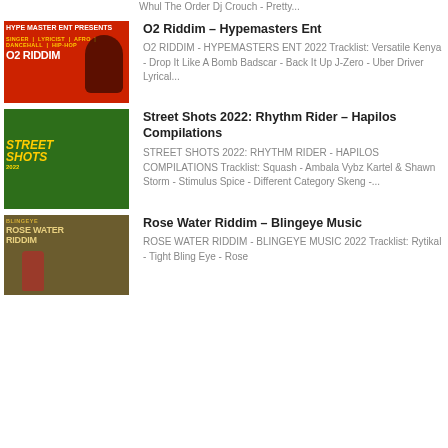Whul The Order Dj Crouch - Pretty...
O2 Riddim – Hypemasters Ent
[Figure (illustration): O2 Riddim album art - red background with silhouette figure, text reading O2 RIDDIM]
O2 RIDDIM - HYPEMASTERS ENT 2022 Tracklist: Versatile Kenya - Drop It Like A Bomb Badscar - Back It Up J-Zero - Uber Driver Lyrical...
Street Shots 2022: Rhythm Rider – Hapilos Compilations
[Figure (illustration): Street Shots 2022 Rhythm Rider album art - green tropical background with figure, Street Shots text in yellow]
STREET SHOTS 2022: RHYTHM RIDER - HAPILOS COMPILATIONS Tracklist: Squash - Ambala Vybz Kartel & Shawn Storm - Stimulus Spice - Different Category Skeng -...
Rose Water Riddim – Blingeye Music
[Figure (illustration): Rose Water Riddim album art - gold/brown background with bottle, Blingeye Music text]
ROSE WATER RIDDIM - BLINGEYE MUSIC 2022 Tracklist: Rytikal - Tight Bling Eye - Rose